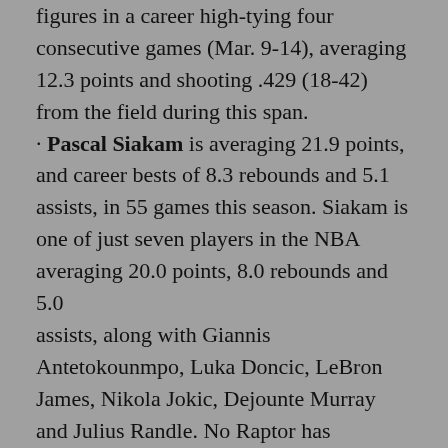figures in a career high-tying four consecutive games (Mar. 9-14), averaging 12.3 points and shooting .429 (18-42) from the field during this span.
· Pascal Siakam is averaging 21.9 points, and career bests of 8.3 rebounds and 5.1 assists, in 55 games this season. Siakam is one of just seven players in the NBA averaging 20.0 points, 8.0 rebounds and 5.0 assists, along with Giannis Antetokounmpo, Luka Doncic, LeBron James, Nikola Jokic, Dejounte Murray and Julius Randle. No Raptor has averaged 20-8-5 over the course of an entire season.
· Scottie Barnes was named Eastern Conference rookie of the month for February